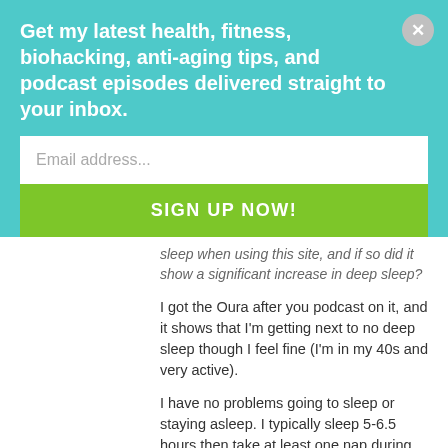Get my latest health, fitness, biohacking, anti-aging tips, and podcast episodes delivered straight to your inbox.
Email address...
SIGN UP NOW!
sleep when using this site, and if so did it show a significant increase in deep sleep?
I got the Oura after you podcast on it, and it shows that I'm getting next to no deep sleep though I feel fine (I'm in my 40s and very active).
I have no problems going to sleep or staying asleep. I typically sleep 5-6.5 hours then take at least one nap during day, unfortunately the Oura can't analyze naps ;/
Anyway just figuring out if this thing would help me with deep sleep, thanks